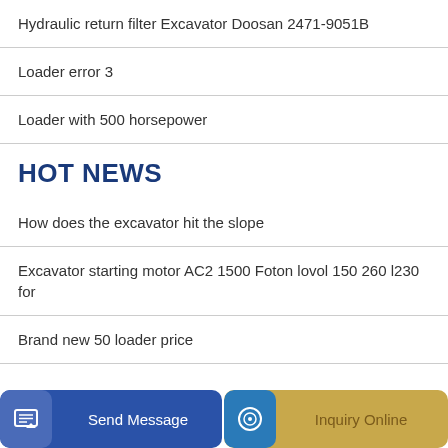Hydraulic return filter Excavator Doosan 2471-9051B
Loader error 3
Loader with 500 horsepower
HOT NEWS
How does the excavator hit the slope
Excavator starting motor AC2 1500 Foton lovol 150 260 l230 for
Brand new 50 loader price
Send Message
Inquiry Online